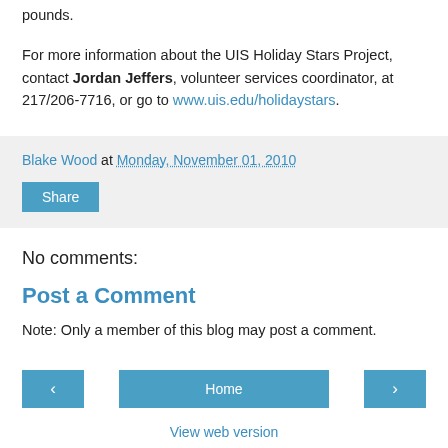pounds.
For more information about the UIS Holiday Stars Project, contact Jordan Jeffers, volunteer services coordinator, at 217/206-7716, or go to www.uis.edu/holidaystars.
Blake Wood at Monday, November 01, 2010
Share
No comments:
Post a Comment
Note: Only a member of this blog may post a comment.
‹  Home  ›  View web version